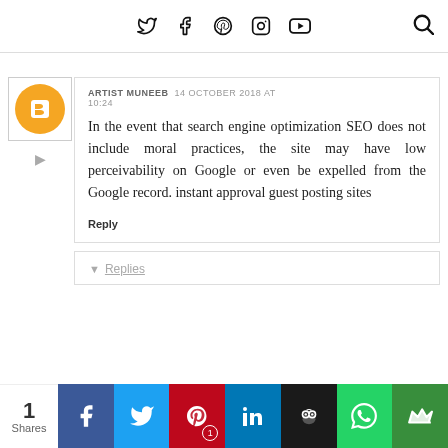Social media navigation icons: Twitter, Facebook, Pinterest, Instagram, YouTube, Search
ARTIST MUNEEB  14 OCTOBER 2018 AT 10:24
In the event that search engine optimization SEO does not include moral practices, the site may have low perceivability on Google or even be expelled from the Google record. instant approval guest posting sites
Reply
Replies
1 Shares — Facebook, Twitter, Pinterest (1), LinkedIn, Buffer, WhatsApp, Crown